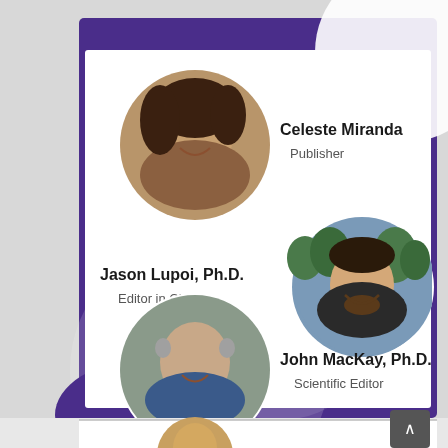[Figure (infographic): Staff profile card with purple background and decorative circles. Shows three staff members with circular portrait photos and their names/titles: Celeste Miranda (Publisher), Jason Lupoi Ph.D. (Editor in Chief), John MacKay Ph.D. (Scientific Editor). A partial fourth profile is visible at the bottom.]
Celeste Miranda
Publisher
Jason Lupoi, Ph.D.
Editor in Chief
John MacKay, Ph.D.
Scientific Editor